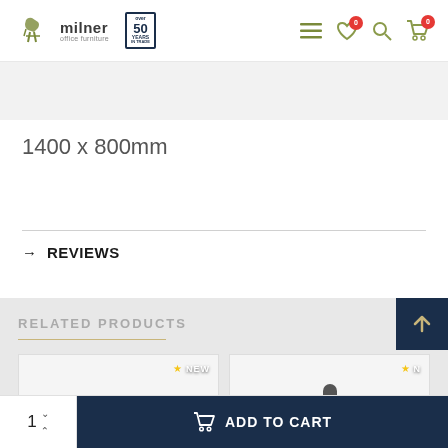Milner Office Furniture — over 50 years in trade
1400 x 800mm
→ REVIEWS
RELATED PRODUCTS
[Figure (photo): Related office chair product card with NEW badge]
[Figure (photo): Related office chair product card with NEW badge and chair image]